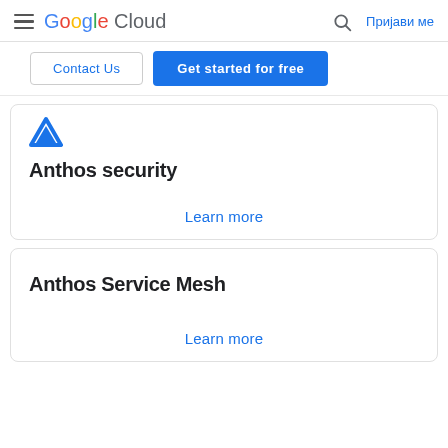Google Cloud — Пријави ме
Contact Us | Get started for free
[Figure (logo): Anthos triangle logo icon in blue]
Anthos security
Learn more
Anthos Service Mesh
Learn more